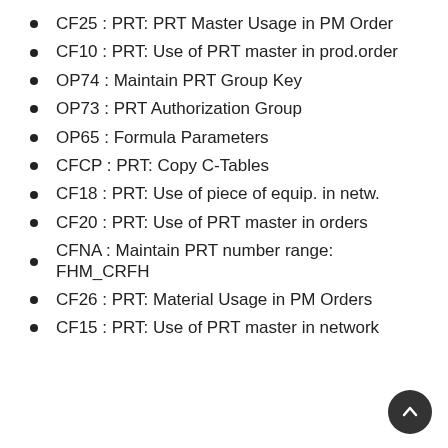CF25 : PRT: PRT Master Usage in PM Order
CF10 : PRT: Use of PRT master in prod.order
OP74 : Maintain PRT Group Key
OP73 : PRT Authorization Group
OP65 : Formula Parameters
CFCP : PRT: Copy C-Tables
CF18 : PRT: Use of piece of equip. in netw.
CF20 : PRT: Use of PRT master in orders
CFNA : Maintain PRT number range: FHM_CRFH
CF26 : PRT: Material Usage in PM Orders
CF15 : PRT: Use of PRT master in network